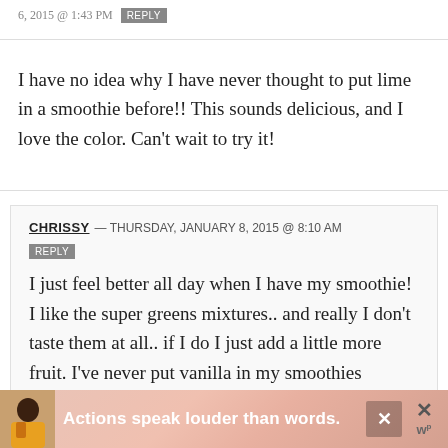6, 2015 @ 1:43 PM  REPLY
I have no idea why I have never thought to put lime in a smoothie before!! This sounds delicious, and I love the color.  Can't wait to try it!
CHRISSY — THURSDAY, JANUARY 8, 2015 @ 8:10 AM
REPLY
I just feel better all day when I have my smoothie! I like the super greens mixtures.. and really I don't taste them at all.. if I do I just add a little more fruit. I've never put vanilla in my smoothies though so I want to try that! 🙂 Thanks
[Figure (infographic): Advertisement banner reading 'Actions speak louder than words.' with a person illustration and close buttons.]